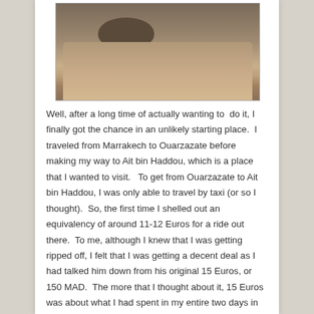[Figure (photo): Landscape photo of an arid rocky terrain with sandy hills and a large boulder, typical of Moroccan desert landscape near Ait bin Haddou]
Well, after a long time of actually wanting to  do it, I finally got the chance in an unlikely starting place.  I traveled from Marrakech to Ouarzazate before making my way to Ait bin Haddou, which is a place that I wanted to visit.  To get from Ouarzazate to Ait bin Haddou, I was only able to travel by taxi (or so I thought).  So, the first time I shelled out an equivalency of around 11-12 Euros for a ride out there.  To me, although I knew that I was getting ripped off, I felt that I was getting a decent deal as I had talked him down from his original 15 Euros, or 150 MAD.  The more that I thought about it, 15 Euros was about what I had spent in my entire two days in Marrakech, and I had just paid it for a 30